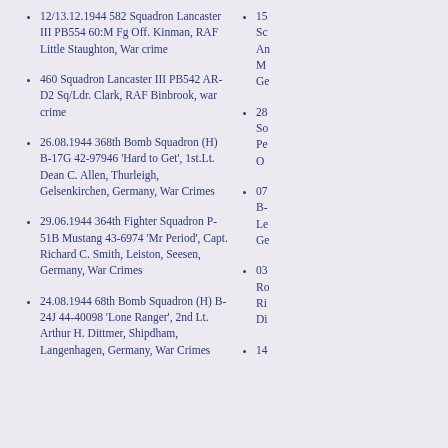12/13.12.1944 582 Squadron Lancaster III PB554 60:M Fg Off. Kinman, RAF Little Staughton, War crime
460 Squadron Lancaster III PB542 AR-D2 Sq/Ldr. Clark, RAF Binbrook, war crime
26.08.1944 368th Bomb Squadron (H) B-17G 42-97946 'Hard to Get', 1st.Lt. Dean C. Allen, Thurleigh, Gelsenkirchen, Germany, War Crimes
29.06.1944 364th Fighter Squadron P-51B Mustang 43-6974 'Mr Period', Capt. Richard C. Smith, Leiston, Seesen, Germany, War Crimes
24.08.1944 68th Bomb Squadron (H) B-24J 44-40098 'Lone Ranger', 2nd Lt. Arthur H. Dittmer, Shipdham, Langenhagen, Germany, War Crimes
15... Sq... An... M... Ge...
28... So... Pe... O...
07... B-... Le... Ge...
03... Ro... Ri... Di...
14...